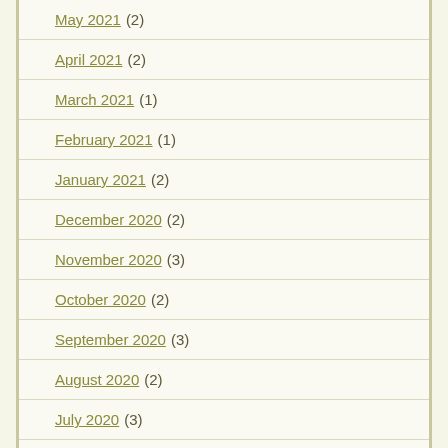May 2021 (2)
April 2021 (2)
March 2021 (1)
February 2021 (1)
January 2021 (2)
December 2020 (2)
November 2020 (3)
October 2020 (2)
September 2020 (3)
August 2020 (2)
July 2020 (3)
June 2020 (1)